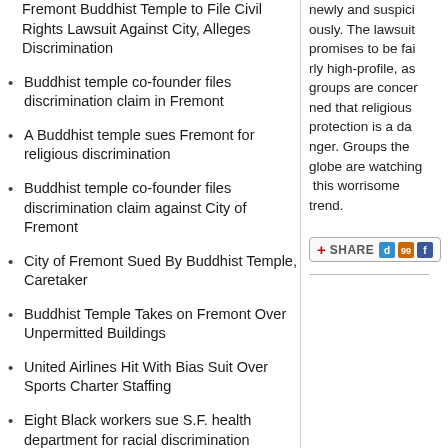Fremont Buddhist Temple to File Civil Rights Lawsuit Against City, Alleges Discrimination
Buddhist temple co-founder files discrimination claim in Fremont
A Buddhist temple sues Fremont for religious discrimination
Buddhist temple co-founder files discrimination claim against City of Fremont
City of Fremont Sued By Buddhist Temple, Caretaker
Buddhist Temple Takes on Fremont Over Unpermitted Buildings
United Airlines Hit With Bias Suit Over Sports Charter Staffing
Eight Black workers sue S.F. health department for racial discrimination
8 health department employees file discrimination suit against San Francisco
newly and suspici... promises to be fai... groups are concer... protection is a da... globe are watching... trend.
[Figure (other): Share button with icons for social bookmarking services (Delicious, Digg, Facebook)]